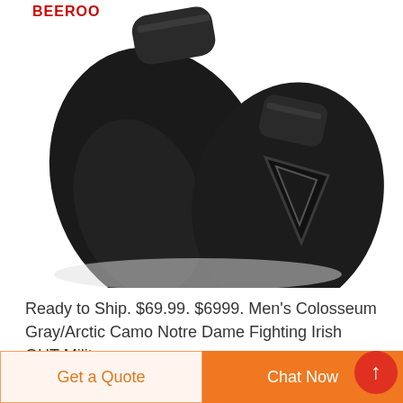[Figure (photo): Close-up photo of two black protective knee/elbow pads with triangular reinforcement panels, overlapping each other on a white background. A partially visible red logo appears at the top left.]
Ready to Ship. $69.99. $6999. Men's Colosseum Gray/Arctic Camo Notre Dame Fighting Irish OHT Milit
[Figure (other): Get a Quote button (light orange background, orange text) and Chat Now button (solid orange background, white text), with a red circular upward-arrow FAB button overlapping the right side.]